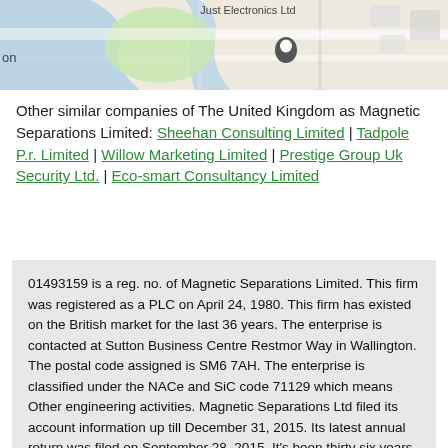[Figure (map): Partial street map showing 'Just Electronics Ltd' label and a location pin marker, with roads, green spaces, and blue water/river area visible. Left edge shows partial text 'on'.]
Other similar companies of The United Kingdom as Magnetic Separations Limited: Sheehan Consulting Limited | Tadpole P.r. Limited | Willow Marketing Limited | Prestige Group Uk Security Ltd. | Eco-smart Consultancy Limited
01493159 is a reg. no. of Magnetic Separations Limited. This firm was registered as a PLC on April 24, 1980. This firm has existed on the British market for the last 36 years. The enterprise is contacted at Sutton Business Centre Restmor Way in Wallington. The postal code assigned is SM6 7AH. The enterprise is classified under the NACe and SiC code 71129 which means Other engineering activities. Magnetic Separations Ltd filed its account information up till December 31, 2015. Its latest annual return was filed on September 28, 2015. It's been thirty six years for Magnetic Separations Ltd on the market, it is still in the race and is an object of envy for